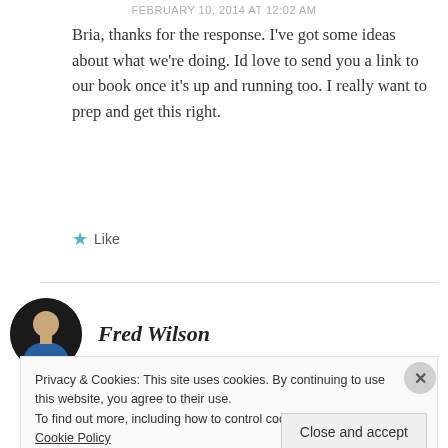FEBRUARY 10, 2014 AT 12:02 AM
Bria, thanks for the response. I've got some ideas about what we're doing. Id love to send you a link to our book once it's up and running too. I really want to prep and get this right.
★ Like
Fred Wilson
Privacy & Cookies: This site uses cookies. By continuing to use this website, you agree to their use.
To find out more, including how to control cookies, see here: Cookie Policy
Close and accept